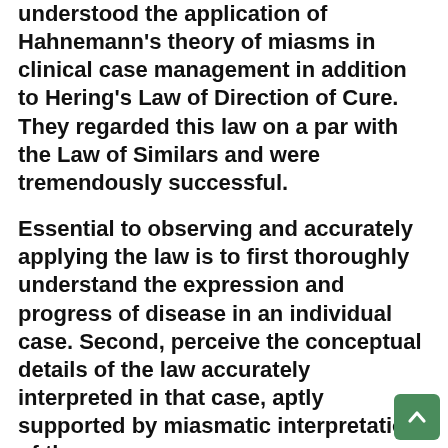understood the application of Hahnemann's theory of miasms in clinical case management in addition to Hering's Law of Direction of Cure. They regarded this law on a par with the Law of Similars and were tremendously successful.
Essential to observing and accurately applying the law is to first thoroughly understand the expression and progress of disease in an individual case. Second, perceive the conceptual details of the law accurately interpreted in that case, aptly supported by miasmatic interpretation of th...